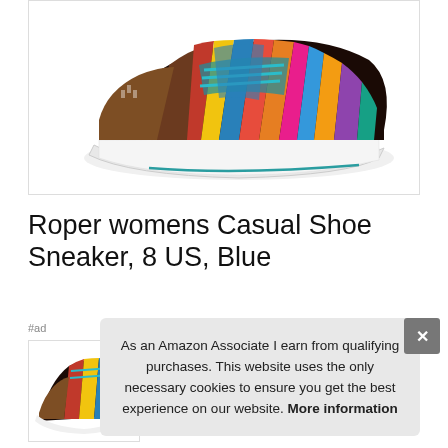[Figure (photo): A colorful Roper womens casual sneaker shoe with multicolored Aztec/tribal pattern fabric upper and teal blue laces, white sole with teal accent stripe, brown toe cap, shown on white background]
Roper womens Casual Shoe Sneaker, 8 US, Blue
#ad
[Figure (photo): Small thumbnail of the same colorful Roper sneaker]
As an Amazon Associate I earn from qualifying purchases. This website uses the only necessary cookies to ensure you get the best experience on our website. More information